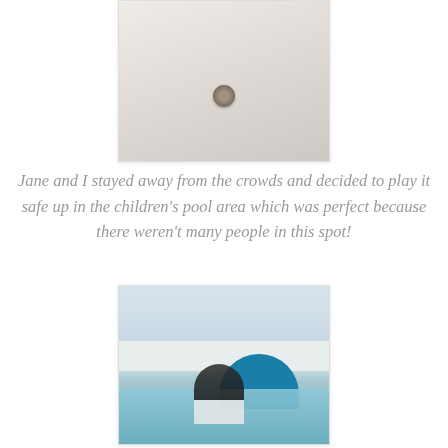[Figure (photo): Close-up photo of what appears to be a bathtub or pool surface with a drain visible, light colored with water texture]
Jane and I stayed away from the crowds and decided to play it safe up in the children's pool area which was perfect because there weren't many people in this spot!
[Figure (photo): Photo of a children's pool area at a resort. A woman and a baby in a red swimsuit sit in shallow water under a large blue dome water feature. Resort buildings and lounge chairs visible in the background.]